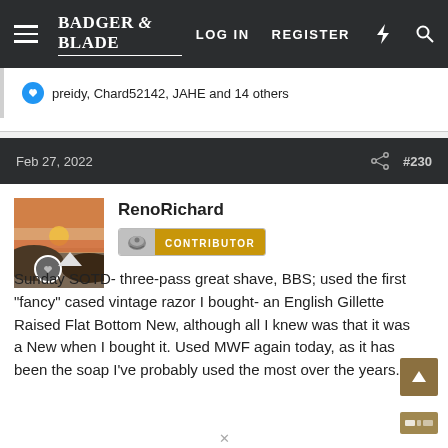BADGER & BLADE  LOG IN  REGISTER
preidy, Chard52142, JAHE and 14 others
Feb 27, 2022  #230
RenoRichard
CONTRIBUTOR
Sunday SOTD- three-pass great shave, BBS; used the first "fancy" cased vintage razor I bought- an English Gillette Raised Flat Bottom New, although all I knew was that it was a New when I bought it. Used MWF again today, as it has been the soap I've probably used the most over the years.